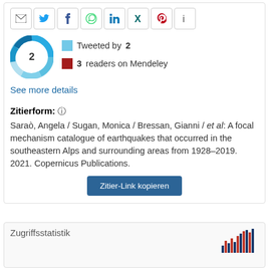[Figure (infographic): Social sharing buttons: email, Twitter, Facebook, WhatsApp, LinkedIn, Xing, Pinterest, info]
[Figure (infographic): Altmetric donut badge showing score of 2, with teal/blue swirl ring]
Tweeted by 2
3 readers on Mendeley
See more details
Zitierform:
Saraò, Angela / Sugan, Monica / Bressan, Gianni / et al: A focal mechanism catalogue of earthquakes that occurred in the southeastern Alps and surrounding areas from 1928–2019. 2021. Copernicus Publications.
Zitier-Link kopieren
Zugriffsstatistik